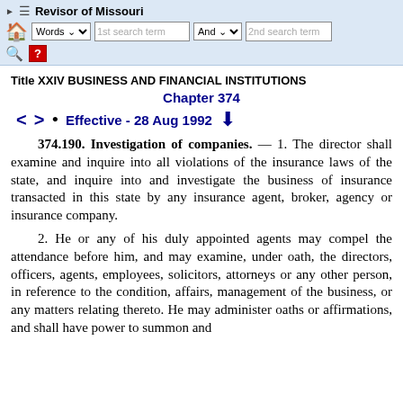Revisor of Missouri — navigation and search bar
Title XXIV BUSINESS AND FINANCIAL INSTITUTIONS
Chapter 374
Effective - 28 Aug 1992
374.190. Investigation of companies. — 1. The director shall examine and inquire into all violations of the insurance laws of the state, and inquire into and investigate the business of insurance transacted in this state by any insurance agent, broker, agency or insurance company.
2. He or any of his duly appointed agents may compel the attendance before him, and may examine, under oath, the directors, officers, agents, employees, solicitors, attorneys or any other person, in reference to the condition, affairs, management of the business, or any matters relating thereto. He may administer oaths or affirmations, and shall have power to summon and compel the attendance of witnesses to examine and